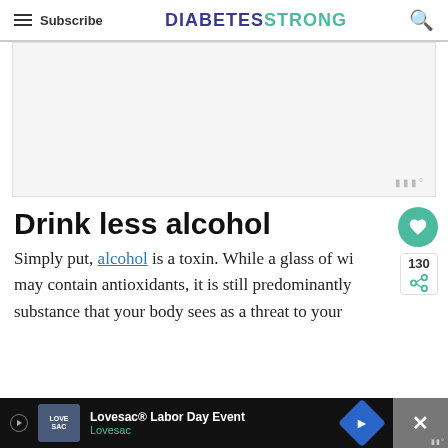Subscribe | DIABETESTRONG
[Figure (other): Advertisement placeholder area, light gray background]
Drink less alcohol
Simply put, alcohol is a toxin. While a glass of wi… may contain antioxidants, it is still predominantly… substance that your body sees as a threat to your…
[Figure (other): Bottom advertisement banner: Lovesac Labor Day Event, Lovesac brand]
130 shares social sidebar